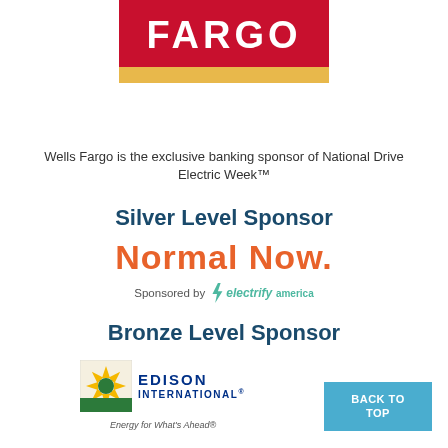[Figure (logo): Wells Fargo logo: red rectangle with FARGO text in white, gold/yellow bar below]
Wells Fargo is the exclusive banking sponsor of National Drive Electric Week™
Silver Level Sponsor
[Figure (logo): Normal Now. orange text logo sponsored by Electrify America]
Bronze Level Sponsor
[Figure (logo): Edison International logo with sunburst icon]
Energy for What's Ahead®